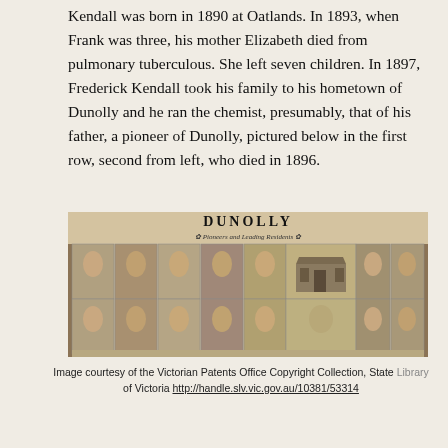Kendall was born in 1890 at Oatlands. In 1893, when Frank was three, his mother Elizabeth died from pulmonary tuberculous. She left seven children. In 1897, Frederick Kendall took his family to his hometown of Dunolly and he ran the chemist, presumably, that of his father, a pioneer of Dunolly, pictured below in the first row, second from left, who died in 1896.
[Figure (photo): Historical composite photograph titled 'DUNOLLY Pioneers and Leading Residents' showing rows of portrait photographs of men from the pioneer era, with a building image in the center.]
Image courtesy of the Victorian Patents Office Copyright Collection, State Library of Victoria http://handle.slv.vic.gov.au/10381/53314